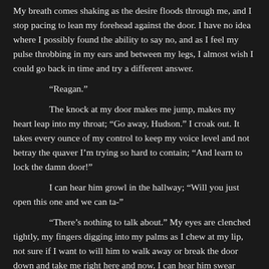My breath comes shaking as the desire floods through me, and I stop pacing to lean my forehead against the door. I have no idea where I possibly found the ability to say no, and as I feel my pulse throbbing in my ears and between my legs, I almost wish I could go back in time and try a different answer.
“Reagan.”
The knock at my door makes me jump, makes my heart leap into my throat; “Go away, Hudson.” I croak out. It takes every ounce of my control to keep my voice level and not betray the quaver I’m trying so hard to contain; “And learn to lock the damn door!”
I can hear him growl in the hallway; “Will you just open this one and we can ta-”
“There’s nothing to talk about.” My eyes are clenched tightly, my fingers digging into my palms as I chew at my lip, not sure if I want to will him to walk away or break the door down and take me right here and now. I can hear him swear under his breath on the other side of the door and then I jump at the sound